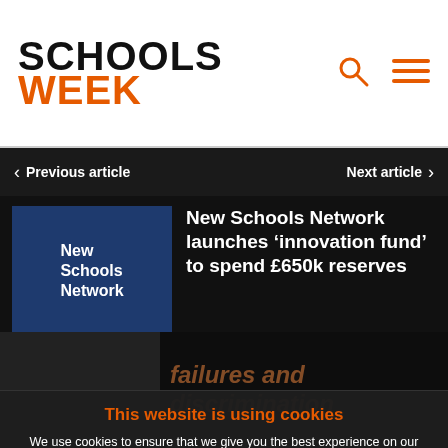SCHOOLS WEEK
Previous article   Next article
New Schools Network launches 'innovation fund' to spend £650k reserves
Freddie Whittaker  1w
This website is using cookies
We use cookies to ensure that we give you the best experience on our website. If you continue without changing your settings, we'll assume that you are happy to receive all cookies on this website.
Accept   Learn More